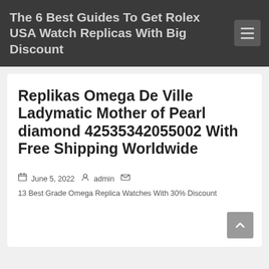The 6 Best Guides To Get Rolex USA Watch Replicas With Big Discount
Replikas Omega De Ville Ladymatic Mother of Pearl diamond 42535342055002 With Free Shipping Worldwide
June 5, 2022  admin  13 Best Grade Omega Replica Watches With 30% Discount